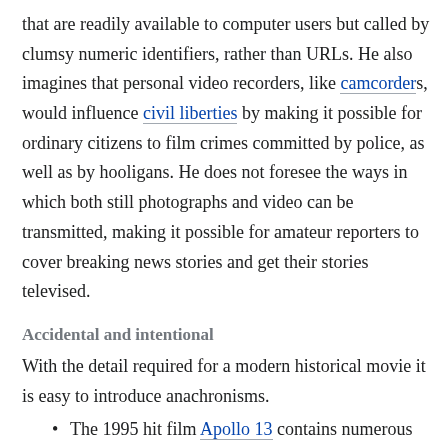that are readily available to computer users but called by clumsy numeric identifiers, rather than URLs. He also imagines that personal video recorders, like camcorders, would influence civil liberties by making it possible for ordinary citizens to film crimes committed by police, as well as by hooligans. He does not foresee the ways in which both still photographs and video can be transmitted, making it possible for amateur reporters to cover breaking news stories and get their stories televised.
Accidental and intentional
With the detail required for a modern historical movie it is easy to introduce anachronisms.
The 1995 hit film Apollo 13 contains numerous errors, including a wrong